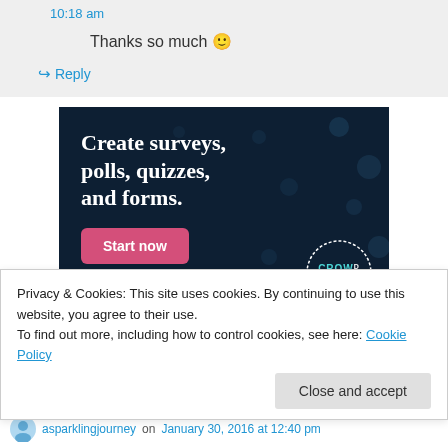10:18 am
Thanks so much 🙂
↪ Reply
[Figure (infographic): Advertisement banner for Crowdsignal showing text 'Create surveys, polls, quizzes, and forms.' with a pink 'Start now' button and Crowdsignal logo on dark navy background]
Privacy & Cookies: This site uses cookies. By continuing to use this website, you agree to their use.
To find out more, including how to control cookies, see here: Cookie Policy
Close and accept
asparklingjourney on January 30, 2016 at 12:40 pm